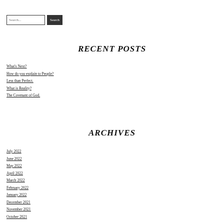RECENT POSTS
What's Next?
How do you explain to People?
Less than Perfect.
What is Reality?
The Covenant of God.
ARCHIVES
July 2022
June 2022
May 2022
April 2022
March 2022
February 2022
January 2022
December 2021
November 2021
October 2021